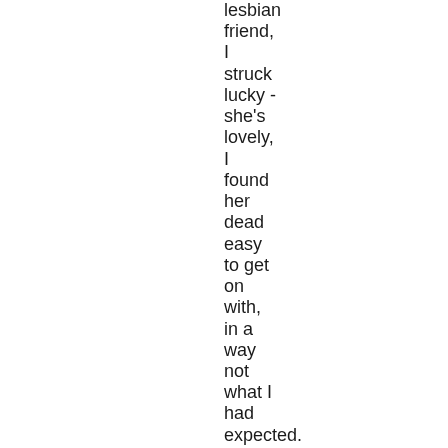lesbian friend, I struck lucky - she's lovely, I found her dead easy to get on with, in a way not what I had expected. I think I was expecting her to be much